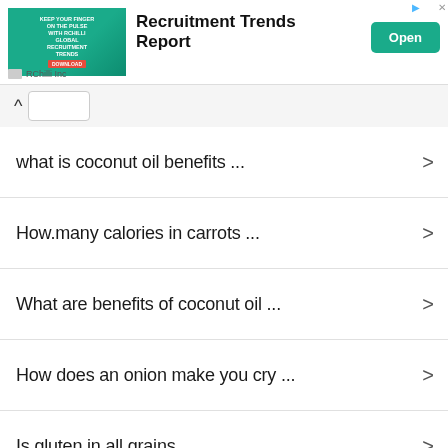[Figure (screenshot): Advertisement banner for RChilli Inc - Recruitment Trends Report with green background image, bold title text, and teal Open button]
what is coconut oil benefits ...
How.many calories in carrots ...
What are benefits of coconut oil ...
How does an onion make you cry ...
Is gluten in all grains ...